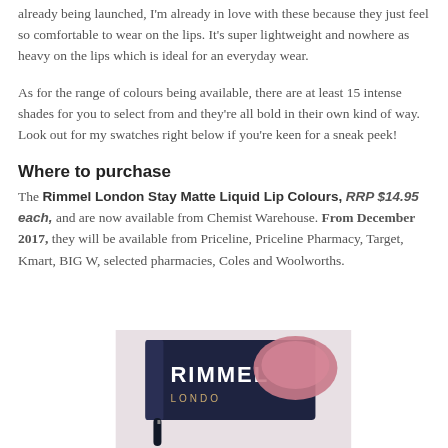already being launched, I'm already in love with these because they just feel so comfortable to wear on the lips. It's super lightweight and nowhere as heavy on the lips which is ideal for an everyday wear.
As for the range of colours being available, there are at least 15 intense shades for you to select from and they're all bold in their own kind of way. Look out for my swatches right below if you're keen for a sneak peek!
Where to purchase
The Rimmel London Stay Matte Liquid Lip Colours, RRP $14.95 each, and are now available from Chemist Warehouse. From December 2017, they will be available from Priceline, Priceline Pharmacy, Target, Kmart, BIG W, selected pharmacies, Coles and Woolworths.
[Figure (photo): Photo of a Rimmel London product package showing the RIMMEL LONDO text and a lip swatch in pink/rose color, with dark navy packaging and a lip gloss applicator visible]